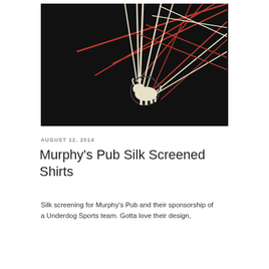[Figure (photo): Black t-shirt with white and red graphic design showing intersecting diagonal lines radiating outward and a white bull/animal figure in the lower center, on a black background.]
AUGUST 12, 2014
Murphy's Pub Silk Screened Shirts
Silk screening for Murphy's Pub and their sponsorship of a Underdog Sports team. Gotta love their design,